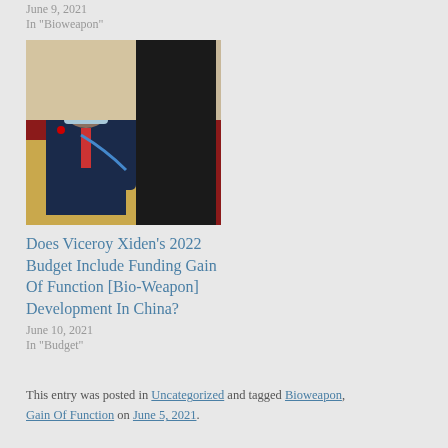June 9, 2021
In "Bioweapon"
[Figure (photo): Photo of a man in a suit wearing a blue face mask, kneeling, with another person in black standing beside him on a red carpet background.]
Does Viceroy Xiden’s 2022 Budget Include Funding Gain Of Function [Bio-Weapon] Development In China?
June 10, 2021
In "Budget"
This entry was posted in Uncategorized and tagged Bioweapon, Gain Of Function on June 5, 2021.